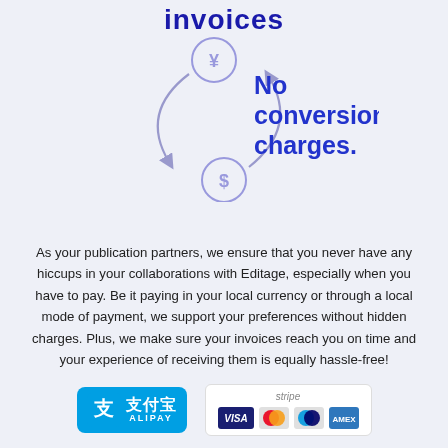invoices
[Figure (infographic): Currency conversion graphic showing yen coin at top and dollar coin at bottom with curved arrows between them, labeled 'No conversion charges.' in large bold blue text.]
As your publication partners, we ensure that you never have any hiccups in your collaborations with Editage, especially when you have to pay. Be it paying in your local currency or through a local mode of payment, we support your preferences without hidden charges. Plus, we make sure your invoices reach you on time and your experience of receiving them is equally hassle-free!
[Figure (logo): Alipay logo (blue background with Chinese characters 支付宝 and ALIPAY text) and Stripe payment logo with VISA, Mastercard, Maestro, and American Express card icons on white background.]